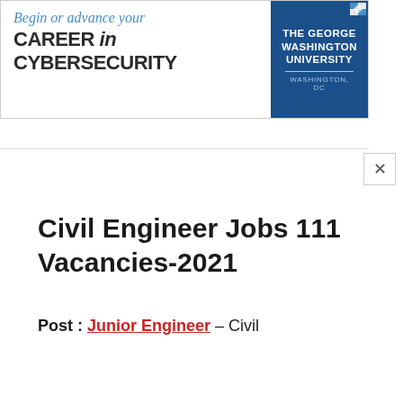[Figure (other): Advertisement banner for The George Washington University Cybersecurity program. Text reads: 'Begin or advance your CAREER in CYBERSECURITY' with THE GEORGE WASHINGTON UNIVERSITY WASHINGTON, DC logo on right side.]
Civil Engineer Jobs 111 Vacancies-2021
Post : Junior Engineer – Civil